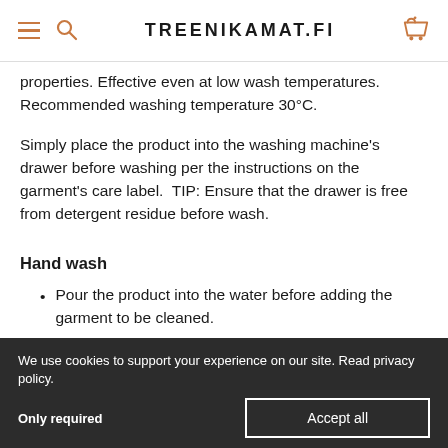TREENIKAMAT.fi
properties. Effective even at low wash temperatures. Recommended washing temperature 30°C.
Simply place the product into the washing machine's drawer before washing per the instructions on the garment's care label.  TIP: Ensure that the drawer is free from detergent residue before wash.
Hand wash
Pour the product into the water before adding the garment to be cleaned.
Agitate the garment briefly before leaving it to soak.
Finally, rinse the treated garment thoroughly to remove any remaining product.
Drying
We use cookies to support your experience on our site. Read privacy policy.